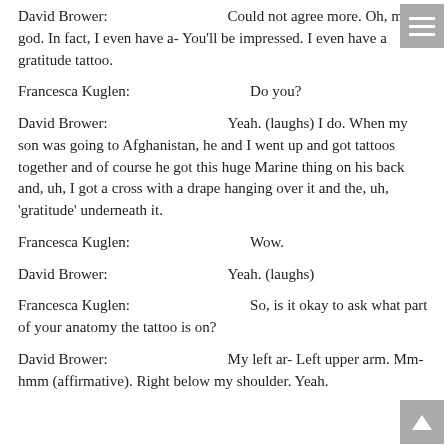David Brower: Could not agree more. Oh, my god. In fact, I even have a- You'll be impressed. I even have a gratitude tattoo.
Francesca Kuglen: Do you?
David Brower: Yeah. (laughs) I do. When my son was going to Afghanistan, he and I went up and got tattoos together and of course he got this huge Marine thing on his back and, uh, I got a cross with a drape hanging over it and the, uh, 'gratitude' underneath it.
Francesca Kuglen: Wow.
David Brower: Yeah. (laughs)
Francesca Kuglen: So, is it okay to ask what part of your anatomy the tattoo is on?
David Brower: My left ar- Left upper arm. Mm-hmm (affirmative). Right below my shoulder. Yeah.